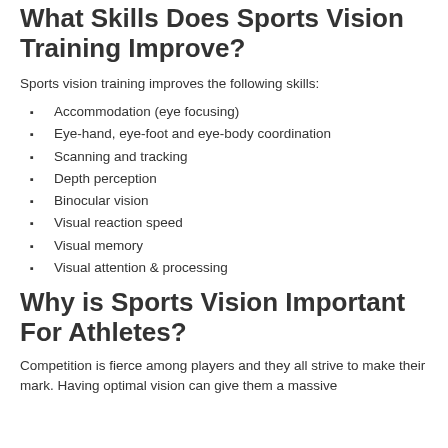What Skills Does Sports Vision Training Improve?
Sports vision training improves the following skills:
Accommodation (eye focusing)
Eye-hand, eye-foot and eye-body coordination
Scanning and tracking
Depth perception
Binocular vision
Visual reaction speed
Visual memory
Visual attention & processing
Why is Sports Vision Important For Athletes?
Competition is fierce among players and they all strive to make their mark. Having optimal vision can give them a massive